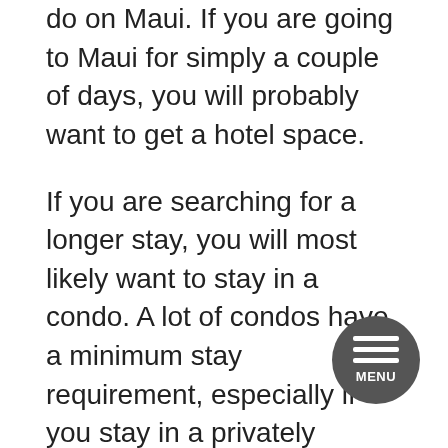do on Maui. If you are going to Maui for simply a couple of days, you will probably want to get a hotel space.
If you are searching for a longer stay, you will most likely want to stay in a condo. A lot of condos have a minimum stay requirement, especially if you stay in a privately owned condo. A lot of personal owners require you to stay a minimum of 7 nights. During holidays, the requirement may be as much as 14 nights. I understand of a couple of owners that will permit a 5 night minimum stay however really couple of enable less than 5 nights.
You will desire to remain in an apartment if you desire to do your own cooking to save some money while you are on Maui. Most hotels will have a bare minimum as far as cooking areas go while condominiums will have an entirely provided cooking